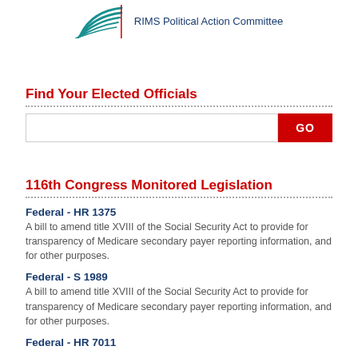[Figure (logo): RIMS PAC logo with teal swoosh graphic and text 'RIMS Political Action Committee' in dark blue]
Find Your Elected Officials
[Figure (screenshot): Search input box with a red GO button]
116th Congress Monitored Legislation
Federal - HR 1375
A bill to amend title XVIII of the Social Security Act to provide for transparency of Medicare secondary payer reporting information, and for other purposes.
Federal - S 1989
A bill to amend title XVIII of the Social Security Act to provide for transparency of Medicare secondary payer reporting information, and for other purposes.
Federal - HR 7011